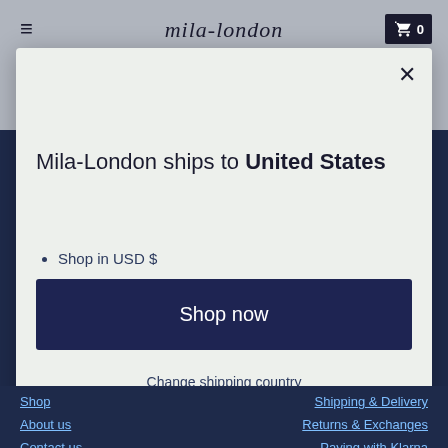mila-london
Mila-London ships to United States
Shop in USD $
Get shipping options for United States
Shop now
Change shipping country
Shop | About us | Contact us | Shipping & Delivery | Returns & Exchanges | Paying with Klarna